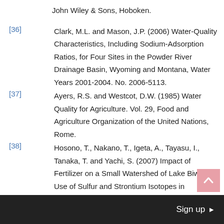John Wiley & Sons, Hoboken.
[36] Clark, M.L. and Mason, J.P. (2006) Water-Quality Characteristics, Including Sodium-Adsorption Ratios, for Four Sites in the Powder River Drainage Basin, Wyoming and Montana, Water Years 2001-2004. No. 2006-5113.
[37] Ayers, R.S. and Westcot, D.W. (1985) Water Quality for Agriculture. Vol. 29, Food and Agriculture Organization of the United Nations, Rome.
[38] Hosono, T., Nakano, T., Igeta, A., Tayasu, I., Tanaka, T. and Yachi, S. (2007) Impact of Fertilizer on a Small Watershed of Lake Biwa: Use of Sulfur and Strontium Isotopes in Environmental Diagnosis. Science of the Total Environment, 384, 342-354. https://doi.org/10.1016/j.scitotenv.2007.05.033
Sign up